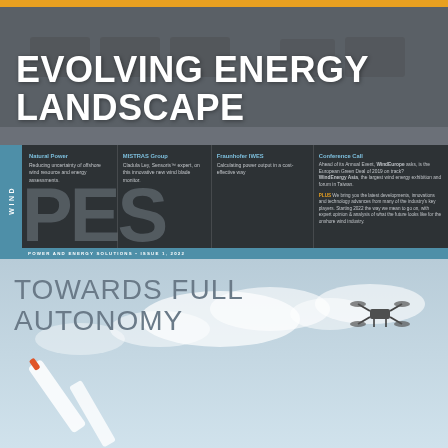EVOLVING ENERGY LANDSCAPE
Natural Power
Reducing uncertainty of offshore wind resource and energy assessments.
MISTRAS Group
Cladula Ley, Sensoris™ expert, on this innovative new wind blade monitor.
Fraunhofer IWES
Calculating power output in a cost-effective way
Conference Call
Ahead of its Annual Event, WindEurope asks, is the European Green Deal of 2019 on track? WindEnergy Asia, the largest wind energy exhibition and forum in Taiwan.
PLUS We bring you the latest developments, innovations and technology advances from many of the industry's key players. Starting 2022 the way we mean to go on, with expert opinion & analysis of what the future looks like for the onshore wind industry.
POWER AND ENERGY SOLUTIONS • ISSUE 1, 2022
TOWARDS FULL AUTONOMY